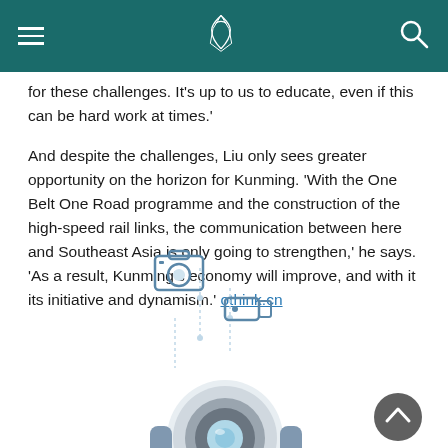Cathay Pacific header with navigation
for these challenges. It's up to us to educate, even if this can be hard work at times.'
And despite the challenges, Liu only sees greater opportunity on the horizon for Kunming. 'With the One Belt One Road programme and the construction of the high-speed rail links, the communication between here and Southeast Asia is only going to strengthen,' he says. 'As a result, Kunming's economy will improve, and with it its initiative and dynamism.' othink.cn
[Figure (illustration): Illustration of a robot or camera device with floating icons including a photo camera and video camera above it, rendered in light blue and grey tones]